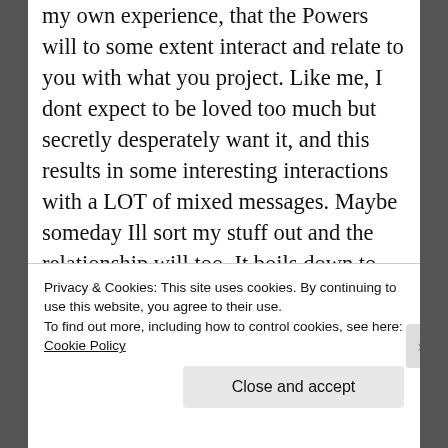my own experience, that the Powers will to some extent interact and relate to you with what you project. Like me, I dont expect to be loved too much but secretly desperately want it, and this results in some interesting interactions with a LOT of mixed messages. Maybe someday Ill sort my stuff out and the relationship will too. It boils down to low self esteem from too many bad experiences mostly with humans. Its good to know the Gods see beyond the superficial. Speaking of contracts, Ive had to sign one with Loki
Privacy & Cookies: This site uses cookies. By continuing to use this website, you agree to their use.
To find out more, including how to control cookies, see here: Cookie Policy
Close and accept